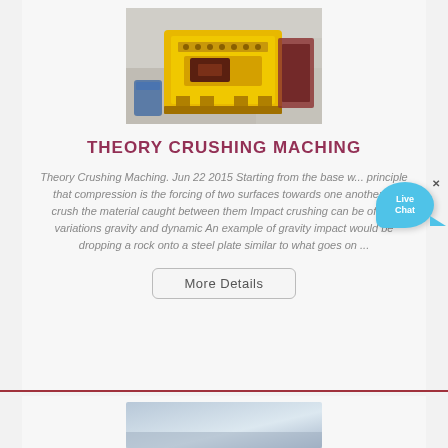[Figure (photo): Yellow industrial impact crusher / crushing machine photographed in a factory/warehouse setting]
THEORY CRUSHING MACHING
Theory Crushing Maching. Jun 22 2015 Starting from the base w... principle that compression is the forcing of two surfaces towards one another to crush the material caught between them Impact crushing can be of two variations gravity and dynamic An example of gravity impact would be dropping a rock onto a steel plate similar to what goes on ...
[Figure (photo): Another machine or product photo partially visible at bottom of page (light blue/grey tones)]